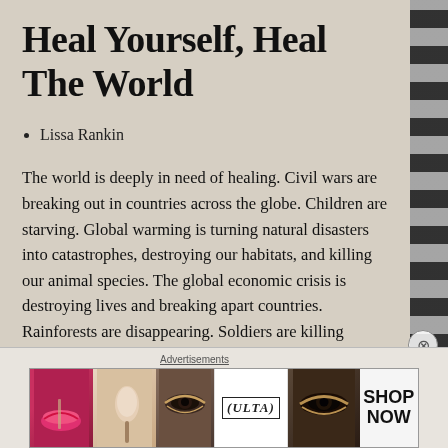Heal Yourself, Heal The World
Lissa Rankin
The world is deeply in need of healing. Civil wars are breaking out in countries across the globe. Children are starving. Global warming is turning natural disasters into catastrophes, destroying our habitats, and killing our animal species. The global economic crisis is destroying lives and breaking apart countries. Rainforests are disappearing. Soldiers are killing civilians and bragging about it. Women around the world are oppressed, abused,
Advertisements